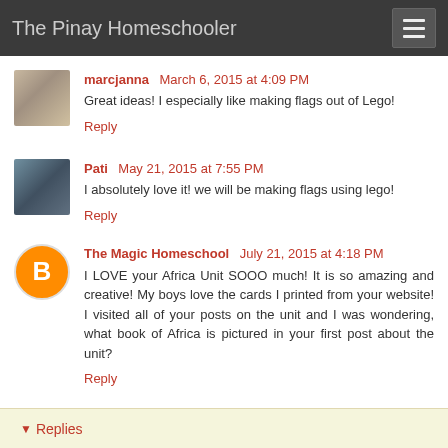The Pinay Homeschooler
marcjanna  March 6, 2015 at 4:09 PM
Great ideas! I especially like making flags out of Lego!
Reply
Pati  May 21, 2015 at 7:55 PM
I absolutely love it! we will be making flags using lego!
Reply
The Magic Homeschool  July 21, 2015 at 4:18 PM
I LOVE your Africa Unit SOOO much! It is so amazing and creative! My boys love the cards I printed from your website! I visited all of your posts on the unit and I was wondering, what book of Africa is pictured in your first post about the unit?
Reply
▼ Replies